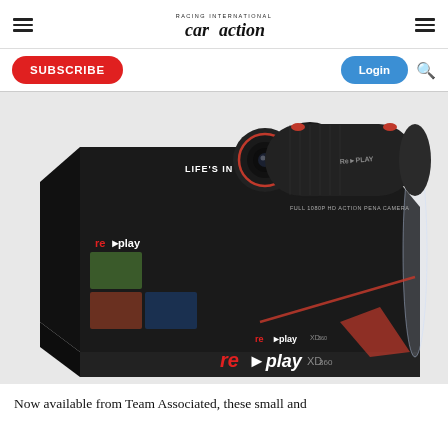RC Car Action - caraction logo with hamburger menus
SUBSCRIBE
Login
[Figure (photo): Replay XD action camera product in black retail box packaging, displayed inside a clear acrylic display case. The cylindrical camera sits on top of the box. Box shows replay logo, 'LIFE'S IN HD... REPL...', product images on the side, and replay XD logo on the bottom front.]
Now available from Team Associated, these small and